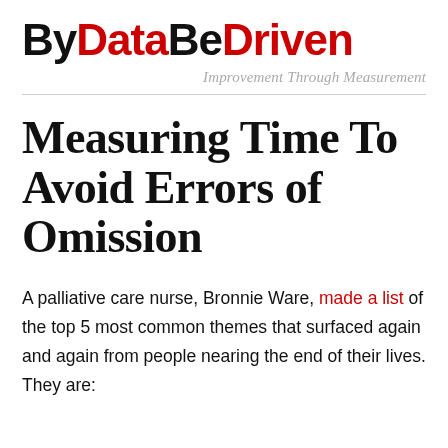ByDataBeDriven
Improvement Through Measurement
Measuring Time To Avoid Errors of Omission
A palliative care nurse, Bronnie Ware, made a list of the top 5 most common themes that surfaced again and again from people nearing the end of their lives. They are: